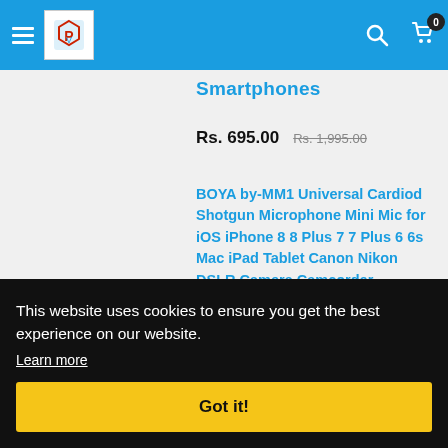[Figure (logo): Website logo with red and blue icon on white background in blue navigation header]
Smartphones
Rs. 695.00  Rs. 1,995.00
BOYA by-MM1 Universal Cardiod Shotgun Microphone Mini Mic for iOS iPhone 8 8 Plus 7 7 Plus 6 6s Mac iPad Tablet Canon Nikon DSLR Camera Camcorder
This website uses cookies to ensure you get the best experience on our website.
Learn more
Got it!